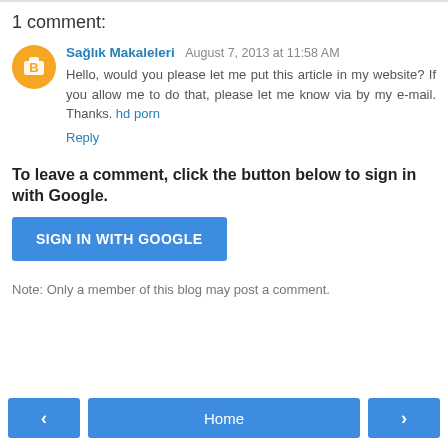1 comment:
Sağlık Makaleleri  August 7, 2013 at 11:58 AM
Hello, would you please let me put this article in my website? If you allow me to do that, please let me know via by my e-mail. Thanks. hd porn
Reply
To leave a comment, click the button below to sign in with Google.
SIGN IN WITH GOOGLE
Note: Only a member of this blog may post a comment.
‹  Home  ›